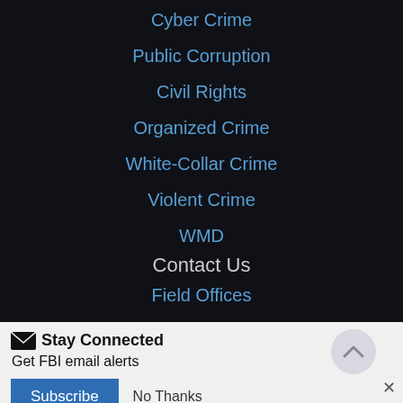Cyber Crime
Public Corruption
Civil Rights
Organized Crime
White-Collar Crime
Violent Crime
WMD
Contact Us
Field Offices
FBI Headquarters
Overseas Offices
Stay Connected
Get FBI email alerts
Subscribe  No Thanks